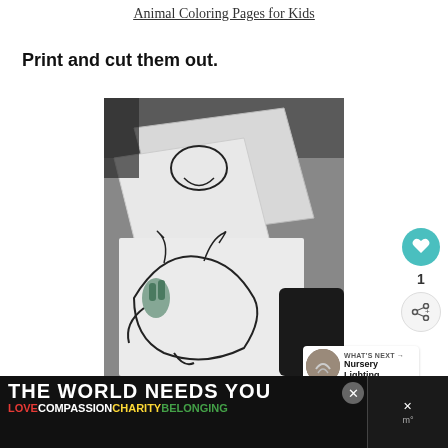Animal Coloring Pages for Kids
Print and cut them out.
[Figure (photo): Photo of printed animal coloring pages cut out on a desk, showing line drawings of animals including a wolf/bear, being handled, with coloring materials nearby.]
[Figure (infographic): Sidebar UI elements: heart/love button (teal circle with heart icon), count of 1, share button. WHAT'S NEXT arrow with Nursery Lighting thumbnail.]
[Figure (infographic): Advertisement banner at bottom: THE WORLD NEEDS YOU with rainbow bar. LOVE COMPASSION CHARITY BELONGING in colored text.]